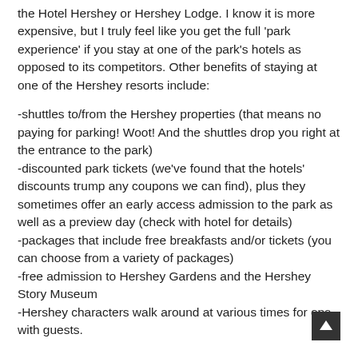the Hotel Hershey or Hershey Lodge. I know it is more expensive, but I truly feel like you get the full 'park experience' if you stay at one of the park's hotels as opposed to its competitors. Other benefits of staying at one of the Hershey resorts include:
-shuttles to/from the Hershey properties (that means no paying for parking! Woot! And the shuttles drop you right at the entrance to the park)
-discounted park tickets (we've found that the hotels' discounts trump any coupons we can find), plus they sometimes offer an early access admission to the park as well as a preview day (check with hotel for details)
-packages that include free breakfasts and/or tickets (you can choose from a variety of packages)
-free admission to Hershey Gardens and the Hershey Story Museum
-Hershey characters walk around at various times for ops with guests.